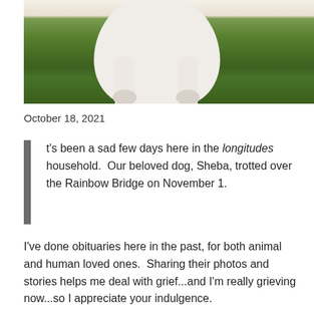[Figure (photo): Photograph of a white fluffy dog (Sheba) standing on green grass, showing the dog's body and legs from approximately chest-level down, with lush green lawn in the background.]
October 18, 2021
t's been a sad few days here in the longitudes household.  Our beloved dog, Sheba, trotted over the Rainbow Bridge on November 1.
I've done obituaries here in the past, for both animal and human loved ones.  Sharing their photos and stories helps me deal with grief...and I'm really grieving now...so I appreciate your indulgence.